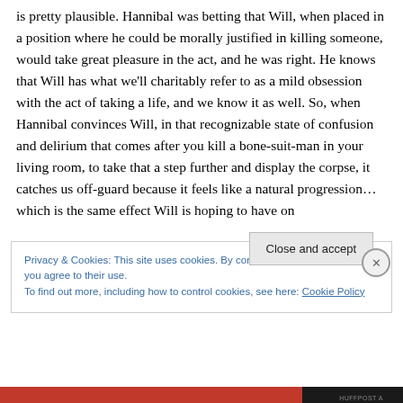is pretty plausible. Hannibal was betting that Will, when placed in a position where he could be morally justified in killing someone, would take great pleasure in the act, and he was right. He knows that Will has what we’ll charitably refer to as a mild obsession with the act of taking a life, and we know it as well. So, when Hannibal convinces Will, in that recognizable state of confusion and delirium that comes after you kill a bone-suit-man in your living room, to take that a step further and display the corpse, it catches us off-guard because it feels like a natural progression… which is the same effect Will is hoping to have on
Privacy & Cookies: This site uses cookies. By continuing to use this website, you agree to their use.
To find out more, including how to control cookies, see here: Cookie Policy